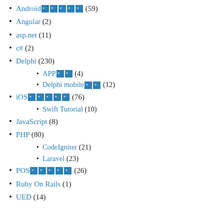Android🔲🔲🔲🔲🔲 (59)
Angular (2)
asp.net (11)
c# (2)
Delphi (230)
APP🔲🔲 (4)
Delphi mobile🔲🔲 (12)
iOS🔲🔲🔲🔲🔲 (76)
Swift Tutorial (10)
JavaScript (8)
PHP (80)
CodeIgniter (21)
Laravel (23)
POS🔲🔲🔲🔲🔲 (26)
Ruby On Rails (1)
UED (14)